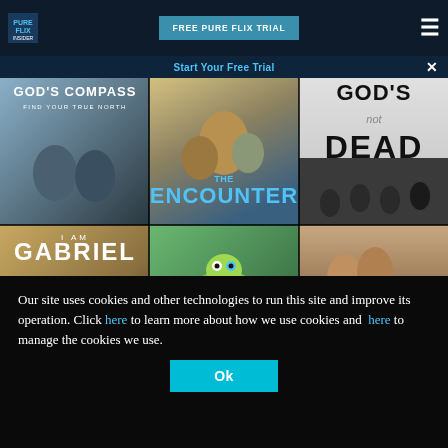Pure Flix Insider | FREE PURE FLIX TRIAL
Start Your Free Trial
[Figure (screenshot): Grid of 6 movie posters from Pure Flix: God's Compass, The Encounter, God's Not Dead, I Am Gabriel, A Turtle's Tale, Sweet Inspirations]
Our site uses cookies and other technologies to run this site and improve its operation. Click here to learn more about how we use cookies and here to manage the cookies we use.
Ok